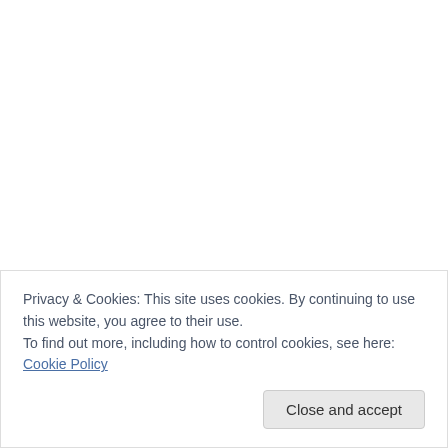Love that twist! What is your favorite thing about being a romance writer?
Privacy & Cookies: This site uses cookies. By continuing to use this website, you agree to their use. To find out more, including how to control cookies, see here: Cookie Policy
Close and accept